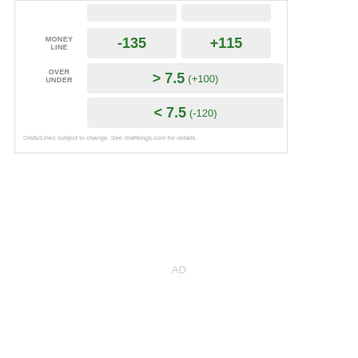|  | Team 1 | Team 2 |
| --- | --- | --- |
| MONEY LINE | -135 | +115 |
| OVER UNDER | > 7.5 (+100) | < 7.5 (-120) |
Odds/Lines subject to change. See draftkings.com for details.
AD